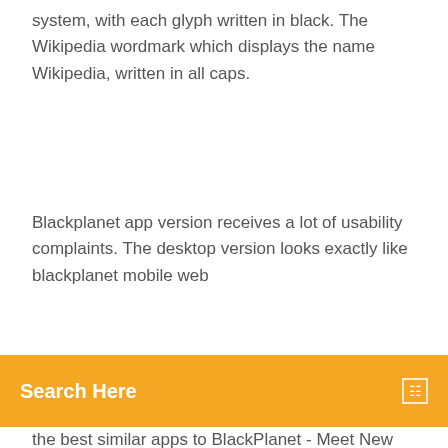system, with each glyph written in black. The Wikipedia wordmark which displays the name Wikipedia, written in all caps.
Blackplanet app version receives a lot of usability complaints. The desktop version looks exactly like blackplanet mobile web
Search Here
the best similar apps to BlackPlanet - Meet New People in android and the 12 best ????Tagged is the #1 place to link up with new people, chill a. BlackPlanet also introduced mobile apps in 2009 for mobile on the BlackBerry, GPhone, iPhone, or Sidekick smartphones  Creating an account with BlackPlanet is easy since they only ask for the necessary information such as The app is available for Android and Apple devices. BlackPlanet. 51K likes. BlackPlanet is a social networking experience where Black America can connect, speak freely, shine and let loose! 20 Mar 2019 How to delete your BlackPlanet account -